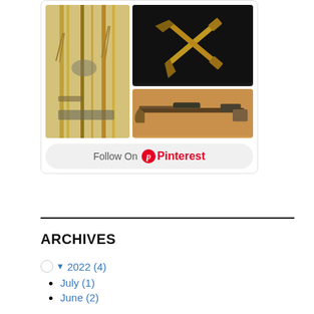[Figure (photo): Pinterest widget showing antique firearms/weapons photos with a 'Follow On Pinterest' button]
ARCHIVES
▼ 2022 (4)
July (1)
June (2)